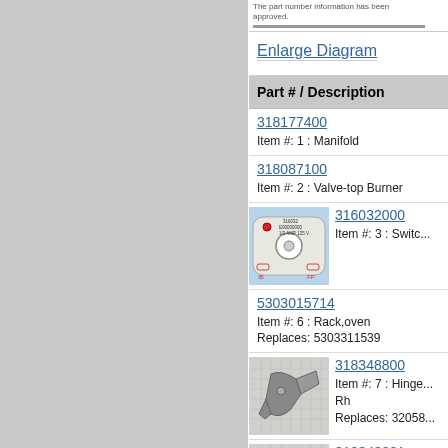[Figure (screenshot): Partial view of an appliance parts diagram at top]
Enlarge Diagram
| Part # / Description |
| --- |
| 318177400 | Item #: 1 : Manifold |
| 318087100 | Item #: 2 : Valve-top Burner |
| 316032000 [image of switch part] | Item #: 3 : Switc... |
| 5303015714 | Item #: 6 : Rack,oven
Replaces: 5303311539 |
| 318348800 [image of hinge] | Item #: 7 : Hinge Rh
Replaces: 32058... |
| 318348801 [image of hinge] | Item #: 7 : Hinge... |